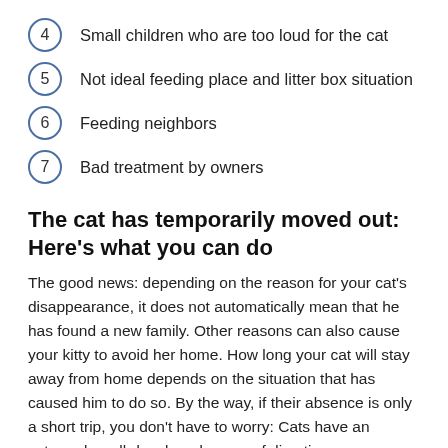4  Small children who are too loud for the cat
5  Not ideal feeding place and litter box situation
6  Feeding neighbors
7  Bad treatment by owners
The cat has temporarily moved out: Here's what you can do
The good news: depending on the reason for your cat's disappearance, it does not automatically mean that he has found a new family. Other reasons can also cause your kitty to avoid her home. How long your cat will stay away from home depends on the situation that has caused him to do so. By the way, if their absence is only a short trip, you don't have to worry: Cats have an extremely well-developed sense of direction.
However, it is not uncommon for cats to feel uncomfortable in their original home. In such cases, free-roaming cats